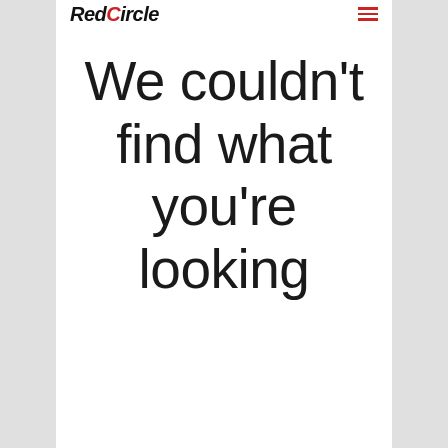[Figure (screenshot): RedCircle app screenshot showing logo/header bar at top with 'RedCircle' text and hamburger menu icon in red, with gray side panels visible]
We couldn't find what you're looking
Powered by RedCircle
SHARE:
[Figure (infographic): Row of social sharing icons: Facebook, Twitter, Google+, Tumblr, Pinterest, LinkedIn, Buffer, StumbleUpon — rounded square gray buttons with white icons]